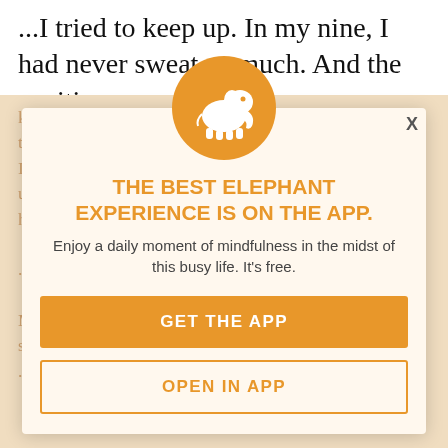...I tried to keep up. In my nine, I had never sweat so much. And the positions
kept getting more and more brutal. But I was able to do the moves that transition you into each position. And then I saw that the regular yoga instructor here Claudia and I usually go to was about two mats over from me. I was horrified. I had no idea what the hell was I doing here...
[Figure (logo): Orange circle with white elephant silhouette logo for Elephant Journal app]
THE BEST ELEPHANT EXPERIENCE IS ON THE APP.
Enjoy a daily moment of mindfulness in the midst of this busy life. It's free.
GET THE APP
OPEN IN APP
My glasses were kind of clouded in my sweat. I couldn't see anything. Every other guy had ...then another lady said usually they had tattoos ...